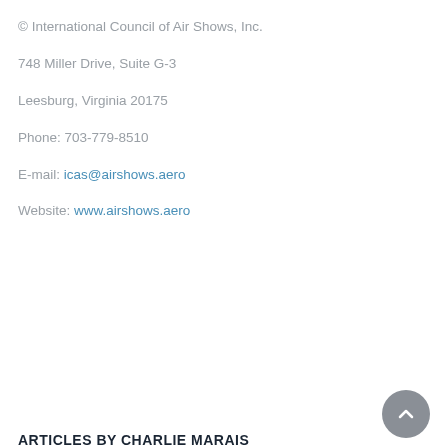© International Council of Air Shows, Inc.
748 Miller Drive, Suite G-3
Leesburg, Virginia 20175
Phone: 703-779-8510
E-mail: icas@airshows.aero
Website: www.airshows.aero
ARTICLES BY CHARLIE MARAIS